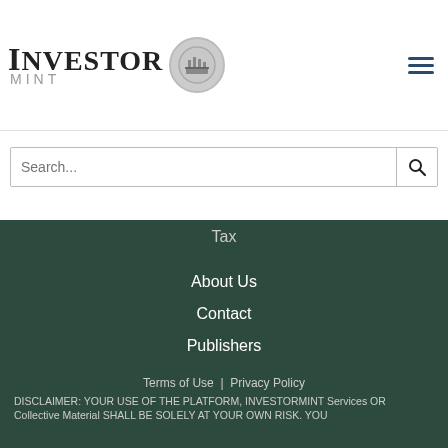[Figure (logo): InvestorMint logo with text and coin/building icon]
[Figure (other): Hamburger menu icon (three horizontal lines)]
Search...
Tax
About Us
Contact
Publishers
[Figure (other): Social media icons: Twitter, Facebook, Instagram, Pinterest, RSS, YouTube, LinkedIn]
© 2017-2020 Investormint. All Rights Reserved
Terms of Use | Privacy Policy
DISCLAIMER: YOUR USE OF THE PLATFORM, INVESTORMINT Services OR Collective Material SHALL BE SOLELY AT YOUR OWN RISK. YOU